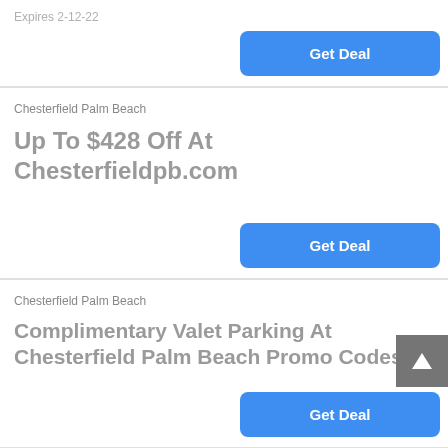Expires 2-12-22
Get Deal
Chesterfield Palm Beach
Up To $428 Off At Chesterfieldpb.com
Get Deal
Chesterfield Palm Beach
Complimentary Valet Parking At Chesterfield Palm Beach Promo Codes
Get Deal